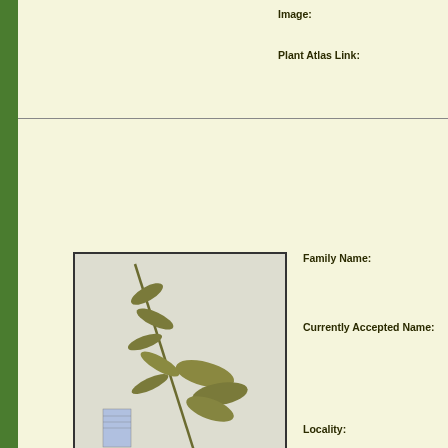Image:
Plant Atlas Link:
[Figure (photo): Herbarium specimen photograph showing a dried plant with stems, leaves, and roots mounted on white paper with collection labels]
Family Name:
Currently Accepted Name:
Locality:
Habitat:
Reproductive State:
Collector:
Date:
Accession No:
Image: